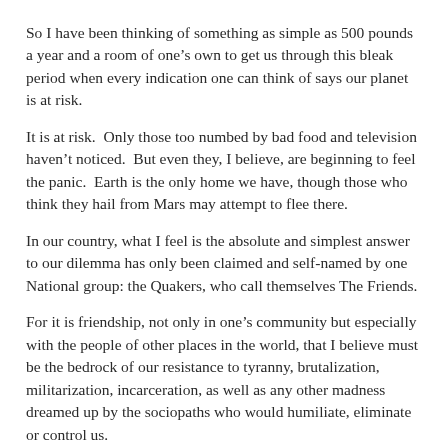So I have been thinking of something as simple as 500 pounds a year and a room of one’s own to get us through this bleak period when every indication one can think of says our planet is at risk.
It is at risk.  Only those too numbed by bad food and television haven’t noticed.  But even they, I believe, are beginning to feel the panic.  Earth is the only home we have, though those who think they hail from Mars may attempt to flee there.
In our country, what I feel is the absolute and simplest answer to our dilemma has only been claimed and self-named by one National group: the Quakers, who call themselves The Friends.
For it is friendship, not only in one’s community but especially with the people of other places in the world, that I believe must be the bedrock of our resistance to tyranny, brutalization, militarization, incarceration, as well as any other madness dreamed up by the sociopaths who would humiliate, eliminate or control us.